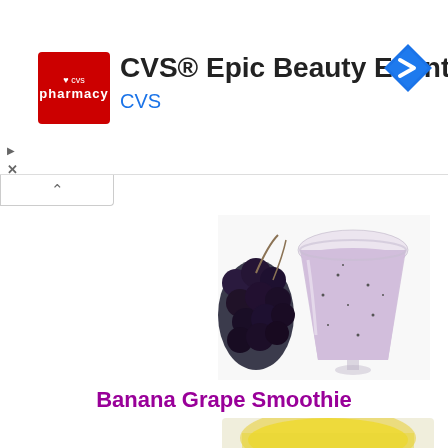[Figure (infographic): CVS Pharmacy advertisement banner with red logo, text 'CVS® Epic Beauty Event', blue 'CVS' label, and blue navigation arrow diamond icon]
[Figure (photo): Photo of a purple/lavender banana grape smoothie in a wine glass, with dark grapes on the left side, on a white background]
Banana Grape Smoothie
[Figure (photo): Partial photo of a yellow/golden smoothie in a bowl or wide glass, cut off at bottom of page]